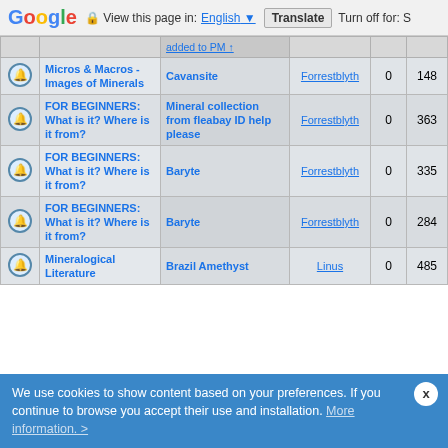Google | View this page in: English | Translate | Turn off for: S
|  | Forum | Topic | Author | Replies | Views | Last |
| --- | --- | --- | --- | --- | --- | --- |
|  |  | added to PM ↑ |  |  |  |  |
| 🔔 | Micros & Macros - Images of Minerals | Cavansite | Forrestblyth | 0 | 148 | Au... |
| 🔔 | FOR BEGINNERS: What is it? Where is it from? | Mineral collection from fleabay ID help please | Forrestblyth | 0 | 363 | Ju... |
| 🔔 | FOR BEGINNERS: What is it? Where is it from? | Baryte | Forrestblyth | 0 | 335 | Ju... |
| 🔔 | FOR BEGINNERS: What is it? Where is it from? | Baryte | Forrestblyth | 0 | 284 | Ju... |
| 🔔 | Mineralogical Literature | Brazil Amethyst | Linus | 0 | 485 | Ma... |
We use cookies to show content based on your preferences. If you continue to browse you accept their use and installation. More information. >